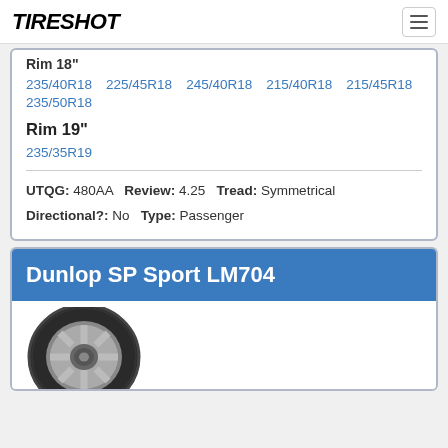TIRESHOT
Rim 18" (partial)
235/40R18  225/45R18  245/40R18  215/40R18  215/45R18  235/50R18
Rim 19"
235/35R19
UTQG: 480AA  Review: 4.25  Tread: Symmetrical  Directional?: No  Type: Passenger
Dunlop SP Sport LM704
[Figure (photo): Dunlop SP Sport LM704 tire product photo showing a tire on a silver wheel]